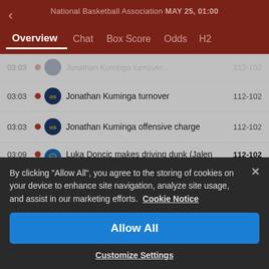National Basketball Association MAY 25, 01:00
Overview | Chat | Box Score | Odds | H2
03:03  Jonathan Kuminga turnover  112-102
03:03  Jonathan Kuminga offensive charge  112-102
03:09  Luka Doncic makes driving dunk (Jalen Brunson assists)  112-102
Stephen Curry enters the game for Damion
By clicking "Allow All", you agree to the storing of cookies on your device to enhance site navigation, analyze site usage, and assist in our marketing efforts. Cookie Notice
Allow All
Customize Settings